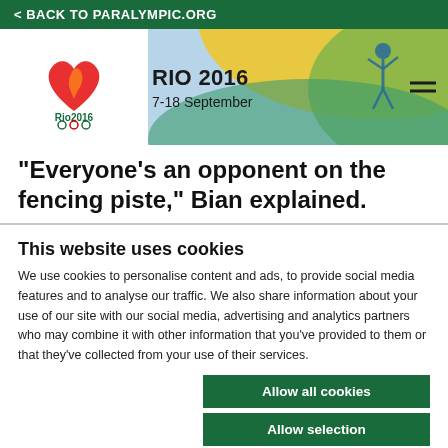< BACK TO PARALYMPIC.ORG
[Figure (logo): Rio 2016 Paralympic Games logo with RIO 2016 text and 7-18 September dates, with decorative background]
"Everyone's an opponent on the fencing piste," Bian explained.
This website uses cookies
We use cookies to personalise content and ads, to provide social media features and to analyse our traffic. We also share information about your use of our site with our social media, advertising and analytics partners who may combine it with other information that you've provided to them or that they've collected from your use of their services.
Allow all cookies
Allow selection
Use necessary cookies only
Necessary  Preferences  Statistics
Marketing
Show details
After failing to make the finals in event, Hong Kong's Chui Yee Yu will